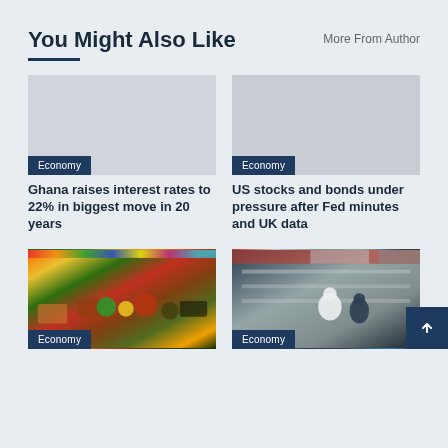You Might Also Like
More From Author
[Figure (photo): Placeholder image for Ghana interest rates article]
Economy
Ghana raises interest rates to 22% in biggest move in 20 years
[Figure (photo): Placeholder image for US stocks article]
Economy
US stocks and bonds under pressure after Fed minutes and UK data
[Figure (photo): Colorful market with fruits and vegetables]
Economy
[Figure (photo): Interior of a store with shoppers near refrigerated shelves]
Economy